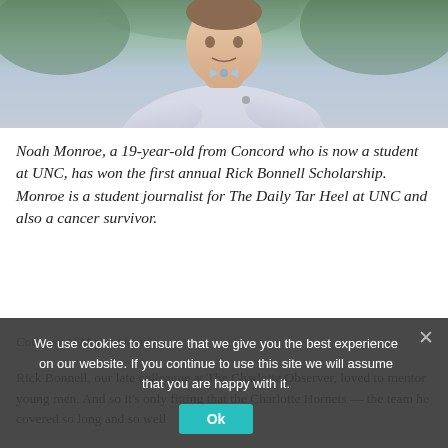[Figure (photo): Photo of Noah Monroe, a young man in a light blue dress shirt and bow tie, arms crossed, outdoors with green foliage background]
Noah Monroe, a 19-year-old from Concord who is now a student at UNC, has won the first annual Rick Bonnell Scholarship. Monroe is a student journalist for The Daily Tar Heel at UNC and also a cancer survivor.
Courtesy of Monroe family
Rick Bonnell, our late colleague at The Charlotte Observer, loved to mentor young men. And so it's only fitting that the Charlotte Hornets — the team he covered so long and so well